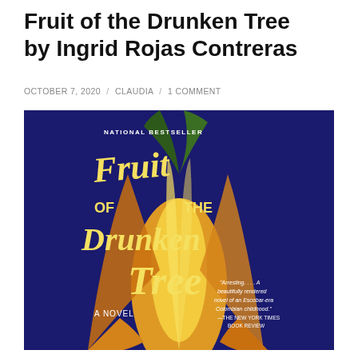Fruit of the Drunken Tree by Ingrid Rojas Contreras
OCTOBER 7, 2020 / CLAUDIA / 1 COMMENT
[Figure (photo): Book cover of 'Fruit of the Drunken Tree' by Ingrid Rojas Contreras. A dark navy/purple background with a large yellow-orange tropical flower (angel's trumpet / datura). The title is written in large yellow script lettering. Text reads: NATIONAL BESTSELLER, Fruit of the Drunken Tree, A NOVEL. Quote: 'Arresting....A beautifully rendered novel of an Escobar-era Colombian childhood.' —THE NEW YORK TIMES BOOK REVIEW]